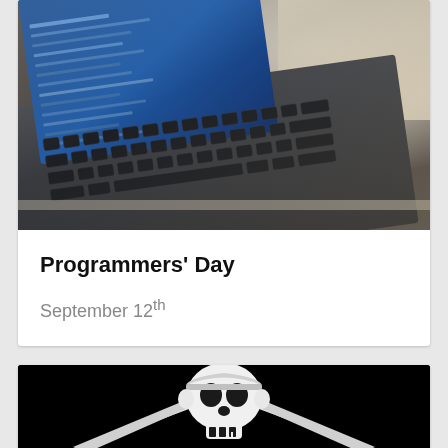[Figure (photo): Close-up photo of a laptop keyboard with a blue-lit screen visible, shot at an angle with shallow depth of field giving a vintage/warm tone]
Programmers' Day
September 12th
[Figure (photo): Jolly Roger pirate skull and crossbones (two crossed cutlass swords) white on black background]